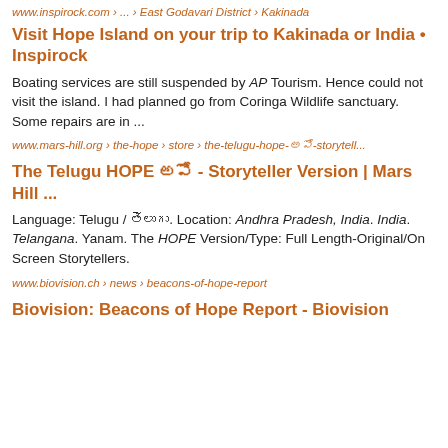www.inspirock.com › ... › East Godavari District › Kakinada
Visit Hope Island on your trip to Kakinada or India • Inspirock
Boating services are still suspended by AP Tourism. Hence could not visit the island. I had planned go from Coringa Wildlife sanctuary. Some repairs are in ...
www.mars-hill.org › the-hope › store › the-telugu-hope-అపో-storytell...
The Telugu HOPE అపో - Storyteller Version | Mars Hill ...
Language: Telugu / తెలుగు. Location: Andhra Pradesh, India. India. Telangana. Yanam. The HOPE Version/Type: Full Length-Original/On Screen Storytellers.
www.biovision.ch › news › beacons-of-hope-report
Biovision: Beacons of Hope Report - Biovision